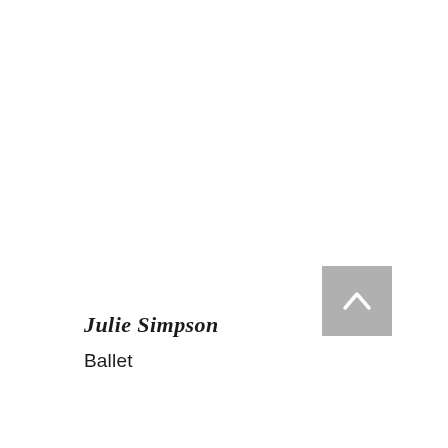Julie Simpson
Ballet
[Figure (other): A grey square button with a white upward-pointing chevron/arrow icon, used as a back-to-top navigation button]